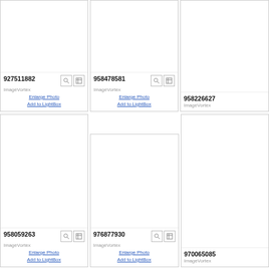[Figure (photo): Stock photo thumbnail blank/white - ID 927511882, ImageVortex]
927511882
ImageVortex
Enlarge Photo
Add to LightBox
[Figure (photo): Stock photo thumbnail blank/white - ID 958478581, ImageVortex]
958478581
ImageVortex
Enlarge Photo
Add to LightBox
[Figure (photo): Stock photo thumbnail partial - ID 958226627, ImageVortex]
958226627
ImageVortex
[Figure (photo): Stock photo thumbnail blank/white - ID 958059263, ImageVortex]
958059263
ImageVortex
Enlarge Photo
Add to LightBox
[Figure (photo): Stock photo thumbnail blank/white - ID 976877930, ImageVortex]
976877930
ImageVortex
Enlarge Photo
Add to LightBox
[Figure (photo): Stock photo thumbnail partial - ID 970065085, ImageVortex]
970065085
ImageVortex
[Figure (photo): Nature/wildlife photo thumbnail - owl in foliage]
[Figure (photo): Nature/wildlife photo thumbnail - animal in foliage]